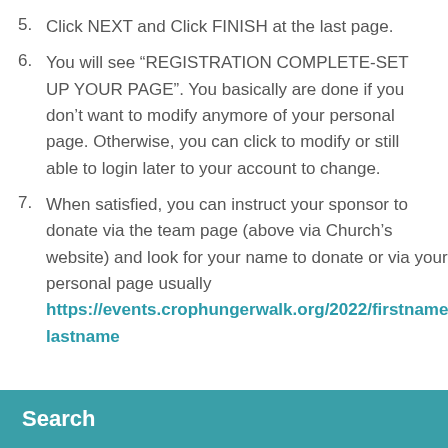5. Click NEXT and Click FINISH at the last page.
6. You will see “REGISTRATION COMPLETE-SET UP YOUR PAGE”. You basically are done if you don’t want to modify anymore of your personal page. Otherwise, you can click to modify or still able to login later to your account to change.
7. When satisfied, you can instruct your sponsor to donate via the team page (above via Church’s website) and look for your name to donate or via your personal page usually https://events.crophungerwalk.org/2022/firstname-lastname
Search